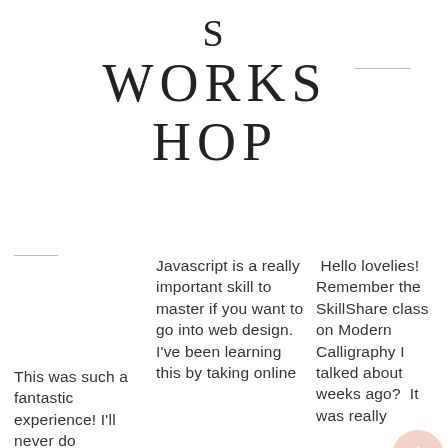S WORKSHOP
This was such a fantastic experience! I'll never do
Javascript is a really important skill to master if you want to go into web design. I've been learning this by taking online
Hello lovelies! Remember the SkillShare class on Modern Calligraphy I talked about weeks ago? It was really